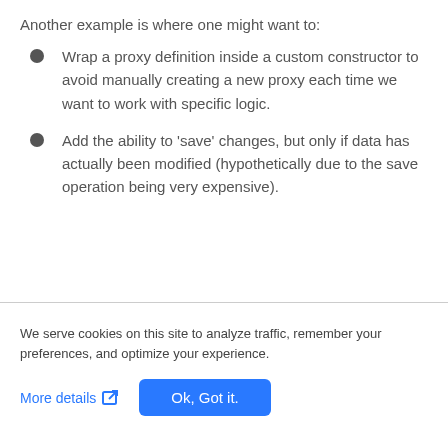Another example is where one might want to:
Wrap a proxy definition inside a custom constructor to avoid manually creating a new proxy each time we want to work with specific logic.
Add the ability to 'save' changes, but only if data has actually been modified (hypothetically due to the save operation being very expensive).
We serve cookies on this site to analyze traffic, remember your preferences, and optimize your experience.